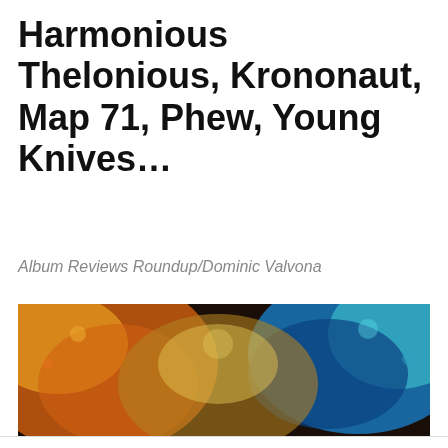Harmonious Thelonious, Krononaut, Map 71, Phew, Young Knives…
Album Reviews Roundup/Dominic Valvona
[Figure (photo): Colorful abstract photo with neon pink graffiti letters reading 'BARBAR' on a dark curved surface, surrounded by vivid orange, blue and teal textures]
Privacy & Cookies: This site uses cookies. By continuing to use this website, you agree to their use.
To find out more, including how to control cookies, see here: Cookie Policy
Close and accept